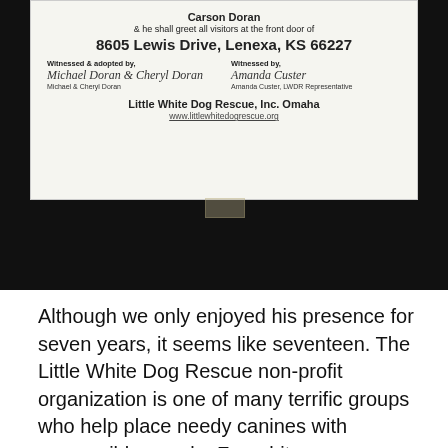[Figure (photo): Photograph of a dog adoption certificate from Little White Dog Rescue, Inc. Omaha, showing the address 8605 Lewis Drive, Lenexa, KS 66227, with signatures from Michael & Cheryl Doran (witnessed & adopted by) and Amanda Custer, LWDR Representative (witnessed by). The document is taped to a dark surface.]
Although we only enjoyed his presence for seven years, it seems like seventeen. The Little White Dog Rescue non-profit organization is one of many terrific groups who help place needy canines with responsible people. For a bit more information about Carson, please go to my post on